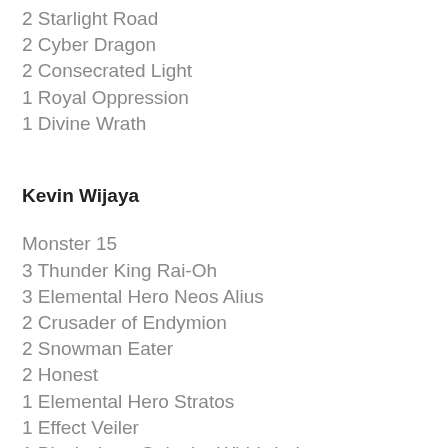2 Starlight Road
2 Cyber Dragon
2 Consecrated Light
1 Royal Oppression
1 Divine Wrath
Kevin Wijaya
Monster 15
3 Thunder King Rai-Oh
3 Elemental Hero Neos Alius
2 Crusader of Endymion
2 Snowman Eater
2 Honest
1 Elemental Hero Stratos
1 Effect Veiler
1 Blackwing - Gale the Whirlwind
Spell 13
3 Gemini Spark